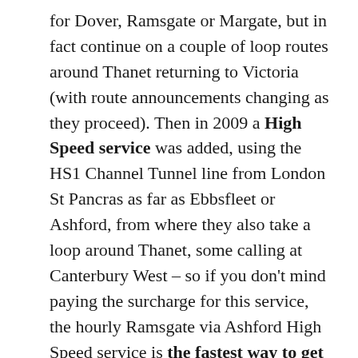for Dover, Ramsgate or Margate, but in fact continue on a couple of loop routes around Thanet returning to Victoria (with route announcements changing as they proceed). Then in 2009 a High Speed service was added, using the HS1 Channel Tunnel line from London St Pancras as far as Ebbsfleet or Ashford, from where they also take a loop around Thanet, some calling at Canterbury West – so if you don't mind paying the surcharge for this service, the hourly Ramsgate via Ashford High Speed service is the fastest way to get here. Therefore it's possible to get a train to Canterbury from almost everywhere on the Kent coast – with the exception of Deal and Sandwich which are reached from